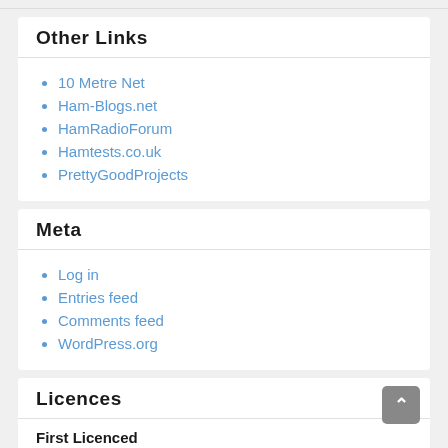Other Links
10 Metre Net
Ham-Blogs.net
HamRadioForum
Hamtests.co.uk
PrettyGoodProjects
Meta
Log in
Entries feed
Comments feed
WordPress.org
Licences
First Licenced